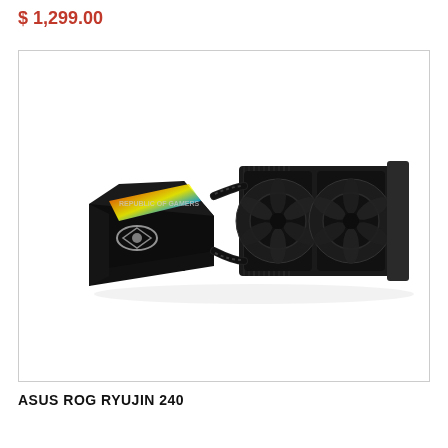$ 1,299.00
[Figure (photo): ASUS ROG Ryujin 240 all-in-one liquid CPU cooler with RGB pump head and dual 120mm fans on a 240mm radiator, shown in a product photo on white background]
ASUS ROG RYUJIN 240